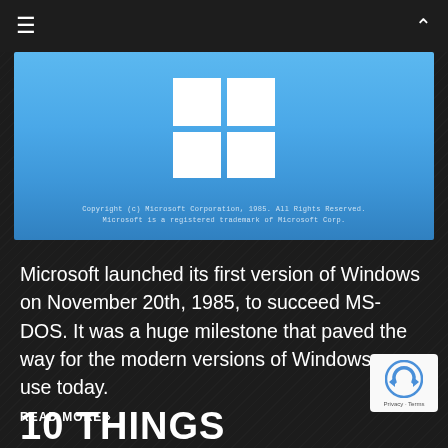Navigation bar with hamburger menu and chevron up icon
[Figure (screenshot): Windows logo on blue background with copyright text: Copyright (c) Microsoft Corporation, 1985. All Rights Reserved. Microsoft is a registered trademark of Microsoft Corp.]
Microsoft launched its first version of Windows on November 20th, 1985, to succeed MS-DOS. It was a huge milestone that paved the way for the modern versions of Windows we use today.
READ MORE ›
10 THINGS